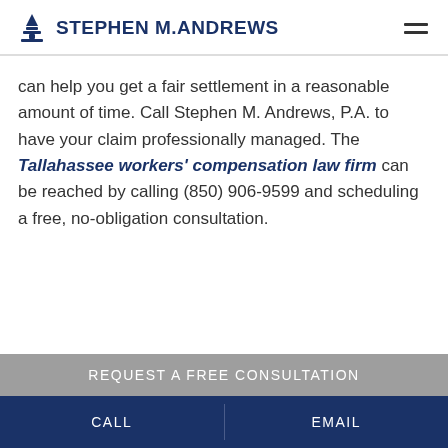STEPHEN M.ANDREWS
can help you get a fair settlement in a reasonable amount of time. Call Stephen M. Andrews, P.A. to have your claim professionally managed. The Tallahassee workers' compensation law firm can be reached by calling (850) 906-9599 and scheduling a free, no-obligation consultation.
REQUEST A FREE CONSULTATION
CALL | EMAIL